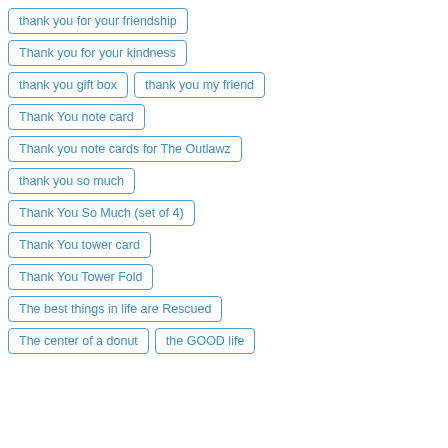thank you for your friendship
Thank you for your kindness
thank you gift box
thank you my friend
Thank You note card
Thank you note cards for The Outlawz
thank you so much
Thank You So Much (set of 4)
Thank You tower card
Thank You Tower Fold
The best things in life are Rescued
The center of a donut
the GOOD life